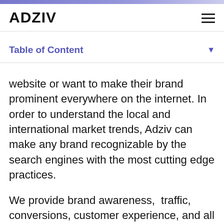ADZIV
Table of Content
website or want to make their brand prominent everywhere on the internet. In order to understand the local and international market trends, Adziv can make any brand recognizable by the search engines with the most cutting edge practices.
We provide brand awareness,  traffic, conversions, customer experience, and all those factors that can give a reputable